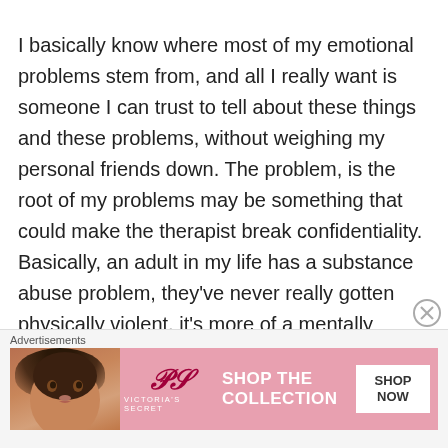I basically know where most of my emotional problems stem from, and all I really want is someone I can trust to tell about these things and these problems, without weighing my personal friends down. The problem, is the root of my problems may be something that could make the therapist break confidentiality. Basically, an adult in my life has a substance abuse problem, they've never really gotten physically violent, it's more of a mentally abusive relationship and I would need to tell my therapist about this adult, but I need to know if they'd get authorities involved, because to outsiders it
Advertisements
[Figure (photo): Victoria's Secret advertisement banner with a woman's photo on the left, VS logo in center, 'SHOP THE COLLECTION' text, and 'SHOP NOW' button on right, pink background.]